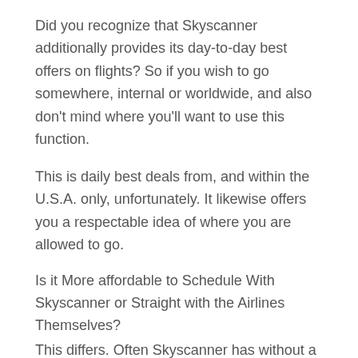Did you recognize that Skyscanner additionally provides its day-to-day best offers on flights? So if you wish to go somewhere, internal or worldwide, and also don't mind where you'll want to use this function.
This is daily best deals from, and within the U.S.A. only, unfortunately. It likewise offers you a respectable idea of where you are allowed to go.
Is it More affordable to Schedule With Skyscanner or Straight with the Airlines Themselves?
This differs. Often Skyscanner has without a doubt the very best bargains, in some cases booking straight with the airline can give you the best deal.
Our finest tip is to adhere to every one of the tips on this web page to discover your ideal day, price, airline, and also route and after that verify your rate against the airline's price.